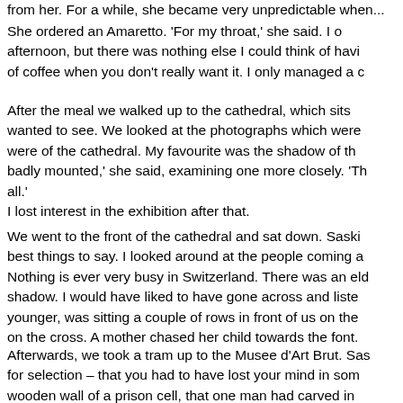from her. For a while, she became very unpredictable when...
She ordered an Amaretto. 'For my throat,' she said. I o afternoon, but there was nothing else I could think of havi of coffee when you don't really want it. I only managed a c
After the meal we walked up to the cathedral, which sits wanted to see. We looked at the photographs which were were of the cathedral. My favourite was the shadow of th badly mounted,' she said, examining one more closely. 'Th all.' I lost interest in the exhibition after that.
We went to the front of the cathedral and sat down. Saski best things to say. I looked around at the people coming a Nothing is ever very busy in Switzerland. There was an eld shadow. I would have liked to have gone across and liste younger, was sitting a couple of rows in front of us on the on the cross. A mother chased her child towards the font.
Afterwards, we took a tram up to the Musee d'Art Brut. Sas for selection – that you had to have lost your mind in som wooden wall of a prison cell, that one man had carved in Hanging from the ceiling was a roll of wallpaper, covered